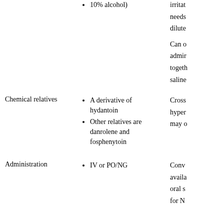10% alcohol)
irritat needs dilute
Can o admir togeth saline
Chemical relatives
A derivative of hydantoin
Other relatives are danrolene and fosphenytoin
Cross hyper may o
Administration
IV or PO/NG
Conv availa oral s for N